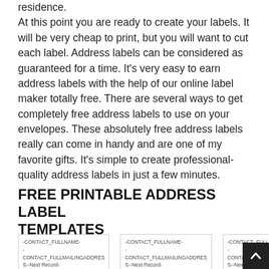residence.
At this point you are ready to create your labels. It will be very cheap to print, but you will want to cut each label. Address labels can be considered as guaranteed for a time. It's very easy to earn address labels with the help of our online label maker totally free. There are several ways to get completely free address labels to use on your envelopes. These absolutely free address labels really can come in handy and are one of my favorite gifts. It's simple to create professional-quality address labels in just a few minutes.
FREE PRINTABLE ADDRESS LABEL TEMPLATES
[Figure (other): Three label template previews side by side, each showing placeholder text: -CONTACT_FULLNAME- / -CONTACT_FULLMAILINGADDRES / S--Next Record-]